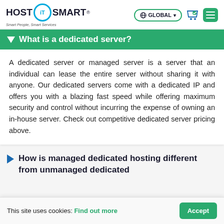HOST iT SMART® — Smart People, Smart Services | GLOBAL | [cart] [menu]
What is a dedicated server?
A dedicated server or managed server is a server that an individual can lease the entire server without sharing it with anyone. Our dedicated servers come with a dedicated IP and offers you with a blazing fast speed while offering maximum security and control without incurring the expense of owning an in-house server. Check out competitive dedicated server pricing above.
How is managed dedicated hosting different from unmanaged dedicated
This site uses cookies: Find out more  Accept